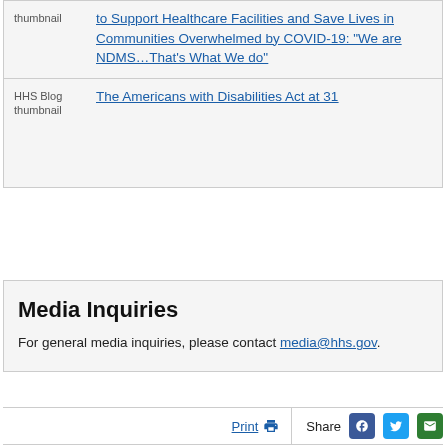HHS Blog thumbnail
to Support Healthcare Facilities and Save Lives in Communities Overwhelmed by COVID-19: “We are NDMS…That’s What We do”
[Figure (other): HHS Blog thumbnail placeholder image]
The Americans with Disabilities Act at 31
Media Inquiries
For general media inquiries, please contact media@hhs.gov.
Print  Share